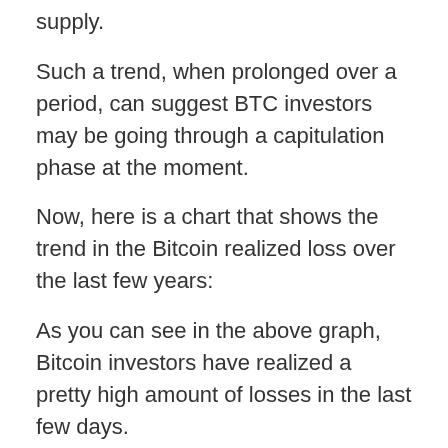supply.
Such a trend, when prolonged over a period, can suggest BTC investors may be going through a capitulation phase at the moment.
Now, here is a chart that shows the trend in the Bitcoin realized loss over the last few years:
As you can see in the above graph, Bitcoin investors have realized a pretty high amount of losses in the last few days.
In fact, spikes of the indicator on three straight days during the past week corresponded to a loss taking of more than $7 billion.
This value of loss realization is the highest it has been in the history of the crypto over a period of three consecutive